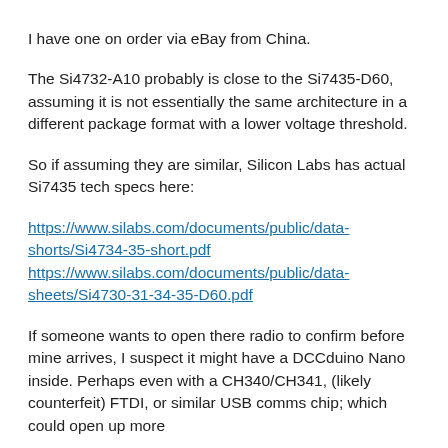I have one on order via eBay from China.
The Si4732-A10 probably is close to the Si7435-D60, assuming it is not essentially the same architecture in a different package format with a lower voltage threshold.
So if assuming they are similar, Silicon Labs has actual Si7435 tech specs here:
https://www.silabs.com/documents/public/data-shorts/Si4734-35-short.pdf
https://www.silabs.com/documents/public/data-sheets/Si4730-31-34-35-D60.pdf
If someone wants to open there radio to confirm before mine arrives, I suspect it might have a DCCduino Nano inside. Perhaps even with a CH340/CH341, (likely counterfeit) FTDI, or similar USB comms chip; which could open up more